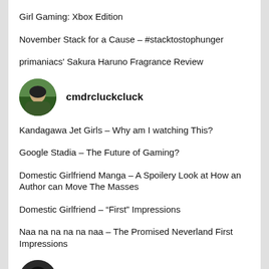Girl Gaming: Xbox Edition
November Stack for a Cause – #stacktostophunger
primaniacs' Sakura Haruno Fragrance Review
[Figure (photo): User avatar for cmdrcluckcluck, a circular profile photo showing a person outdoors.]
cmdrcluckcluck
Kandagawa Jet Girls – Why am I watching This?
Google Stadia – The Future of Gaming?
Domestic Girlfriend Manga – A Spoilery Look at How an Author can Move The Masses
Domestic Girlfriend – “First” Impressions
Naa na na na na naa – The Promised Neverland First Impressions
[Figure (photo): User avatar for Sinmadaura, a circular profile photo showing a person.]
Sinmadaura